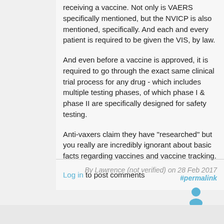receiving a vaccine. Not only is VAERS specifically mentioned, but the NVICP is also mentioned, specifically. And each and every patient is required to be given the VIS, by law.
And even before a vaccine is approved, it is required to go through the exact same clinical trial process for any drug - which includes multiple testing phases, of which phase I & phase II are specifically designed for safety testing.
Anti-vaxers claim they have "researched" but you really are incredibly ignorant about basic facts regarding vaccines and vaccine tracking.
Log in to post comments
By Lawrence (not verified) on 28 Feb 2017
#permalink
[Figure (illustration): User avatar icon — a simple blue silhouette of a person]